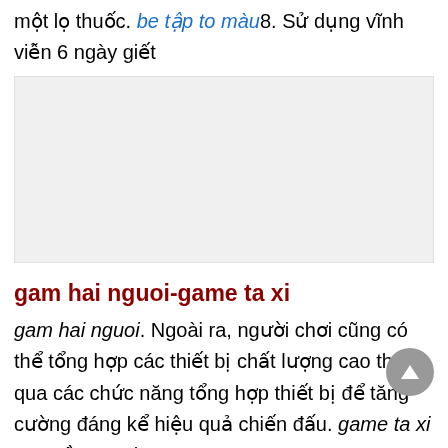một lọ thuốc. be tập to màu8. Sử dụng vĩnh viễn 6 ngày giết
[Figure (other): Blank light gray rectangular image placeholder]
gam hai nguoi-game ta xi
gam hai nguoi. Ngoài ra, người chơi cũng có thể tổng hợp các thiết bị chất lượng cao thông qua các chức năng tổng hợp thiết bị để tăng cường đáng kể hiệu quả chiến đấu. game ta xi 15. Đồng xanh
choi game nhuu luu-game xe tai